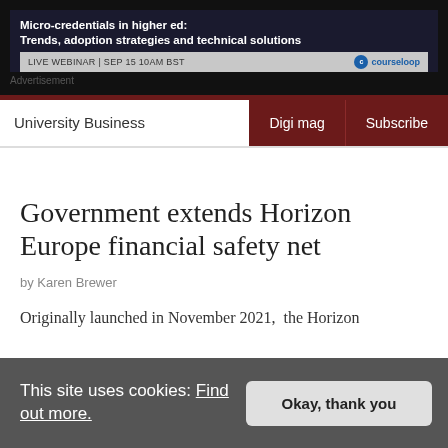[Figure (other): Advertisement banner for Courseloop webinar: 'Micro-credentials in higher ed: Trends, adoption strategies and technical solutions'. LIVE WEBINAR | SEP 15 10AM BST. courseloop logo.]
Advertisement
University Business    Digi mag    Subscribe
Government extends Horizon Europe financial safety net
by Karen Brewer
Originally launched in November 2021,  the Horizon
This site uses cookies: Find out more.
Okay, thank you